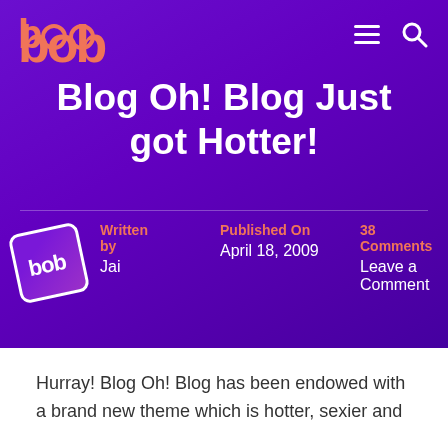[Figure (logo): bob logo in salmon/coral color]
Blog Oh! Blog Just got Hotter!
Written by Jai
Published On April 18, 2009
38 Comments Leave a Comment
Hurray! Blog Oh! Blog has been endowed with a brand new theme which is hotter, sexier and